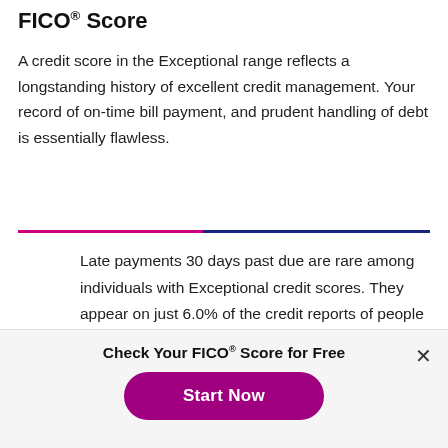FICO® Score
A credit score in the Exceptional range reflects a longstanding history of excellent credit management. Your record of on-time bill payment, and prudent handling of debt is essentially flawless.
Late payments 30 days past due are rare among individuals with Exceptional credit scores. They appear on just 6.0% of the credit reports of people with FICO® Scores of 803.
Check Your FICO® Score for Free
Start Now